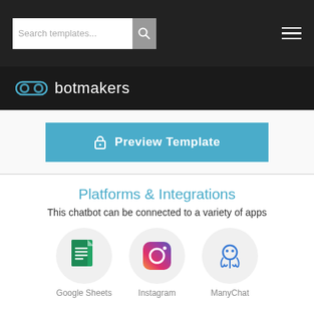Search templates... [search button] [hamburger menu]
[Figure (logo): Botmakers logo with goggles icon and text 'botmakers' in white on dark background]
[Figure (other): Preview Template button with lock icon in teal/blue color]
Platforms & Integrations
This chatbot can be connected to a variety of apps
[Figure (illustration): Google Sheets icon in a grey circle]
[Figure (illustration): Instagram icon in a grey circle]
[Figure (illustration): ManyChat icon in a grey circle]